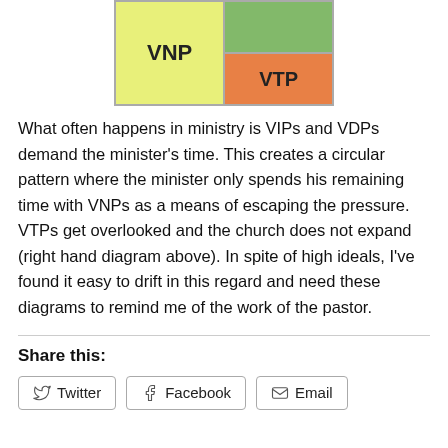[Figure (other): A 2x2 grid table showing VNP (large yellow cell spanning left column) with green cell top-right and VTP orange cell bottom-right]
What often happens in ministry is VIPs and VDPs demand the minister's time. This creates a circular pattern where the minister only spends his remaining time with VNPs as a means of escaping the pressure. VTPs get overlooked and the church does not expand (right hand diagram above). In spite of high ideals, I've found it easy to drift in this regard and need these diagrams to remind me of the work of the pastor.
Share this:
Twitter  Facebook  Email